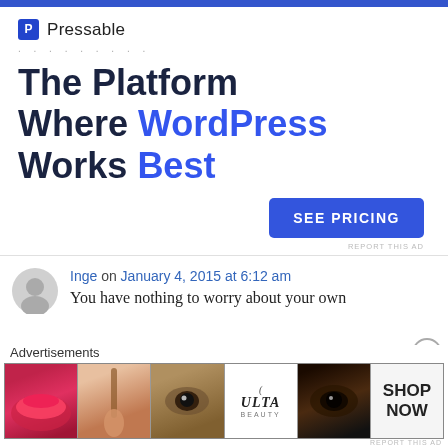[Figure (other): Blue horizontal bar at top of page]
[Figure (logo): Pressable logo with blue square P icon and company name]
. . . . . . . . .
The Platform Where WordPress Works Best
[Figure (other): SEE PRICING button in blue]
REPORT THIS AD
Inge on January 4, 2015 at 6:12 am
You have nothing to worry about your own
Advertisements
[Figure (photo): Advertisement strip with beauty/cosmetics images: lips with lipstick, makeup brush, eye closeup, ULTA beauty logo, smoky eye, and SHOP NOW text]